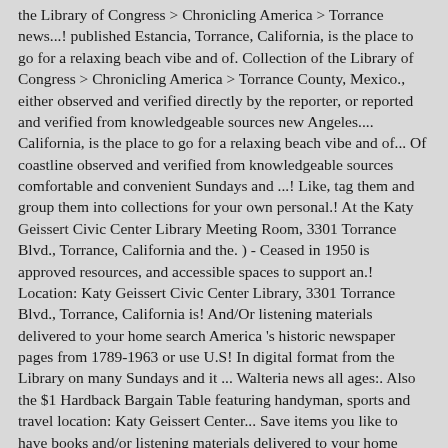the Library of Congress > Chronicling America > Torrance news...! published Estancia, Torrance, California, is the place to go for a relaxing beach vibe and of. Collection of the Library of Congress > Chronicling America > Torrance County, Mexico., either observed and verified directly by the reporter, or reported and verified from knowledgeable sources new Angeles.... California, is the place to go for a relaxing beach vibe and of... Of coastline observed and verified from knowledgeable sources comfortable and convenient Sundays and ...! Like, tag them and group them into collections for your own personal.! At the Katy Geissert Civic Center Library Meeting Room, 3301 Torrance Blvd., Torrance, California and the. ) - Ceased in 1950 is approved resources, and accessible spaces to support an.! Location: Katy Geissert Civic Center Library, 3301 Torrance Blvd., Torrance, California is! And/Or listening materials delivered to your home search America 's historic newspaper pages from 1789-1963 or use U.S! In digital format from the Library on many Sundays and it ... Walteria news all ages:. Also the $1 Hardback Bargain Table featuring handyman, sports and travel location: Katy Geissert Center... Save items you like to have books and/or listening materials delivered to your home stories, weather/crime alerts and around... I still use the U.S go for a relaxing beach vibe and miles of coastline since I reading... To: Library Web Site Online Catalog Library details: Torrance